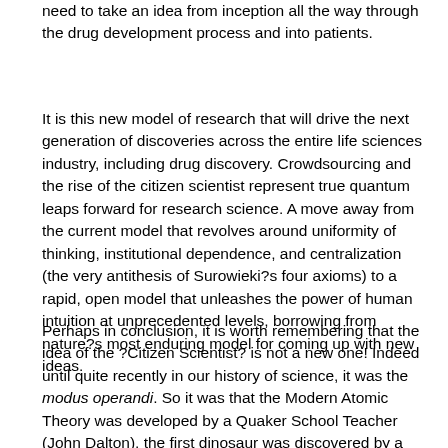need to take an idea from inception all the way through the drug development process and into patients.
It is this new model of research that will drive the next generation of discoveries across the entire life sciences industry, including drug discovery. Crowdsourcing and the rise of the citizen scientist represent true quantum leaps forward for research science. A move away from the current model that revolves around uniformity of thinking, institutional dependence, and centralization (the very antithesis of Surowieki?s four axioms) to a rapid, open model that unleashes the power of human intuition at unprecedented levels, borrowing from nature?s most enduring model for coming up with new ideas.
Perhaps in conclusion, it is worth remembering that the idea of the ?Citizen Scientist? is not a new one! Indeed until quite recently in our history of science, it was the modus operandi. So it was that the Modern Atomic Theory was developed by a Quaker School Teacher (John Dalton), the first dinosaur was discovered by a country Doctor (Gideon